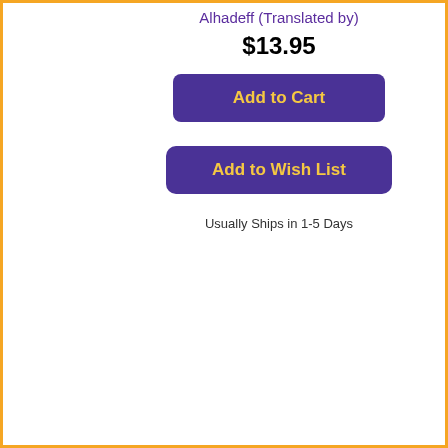Alhadeff (Translated by)
$13.95
Add to Cart
Add to Wish List
Usually Ships in 1-5 Days
[Figure (photo): Book cover for The Women I Love: A Novel by Francesco Pacifico. Red/coral background with black line drawing of a female figure.]
The Women I Love: A Novel (Hardcover)
By Francesco Pacifico, Elizabeth Harris (Translated